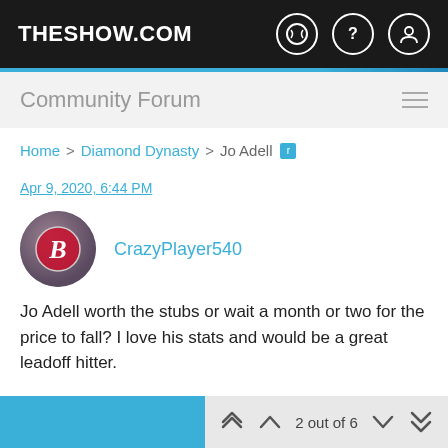THESHOW.COM
Community Forum
Home > Diamond Dynasty > Jo Adell
Apr 9, 2020, 6:44 PM
CrazyPlayer540
Jo Adell worth the stubs or wait a month or two for the price to fall? I love his stats and would be a great leadoff hitter.
0
2 out of 6